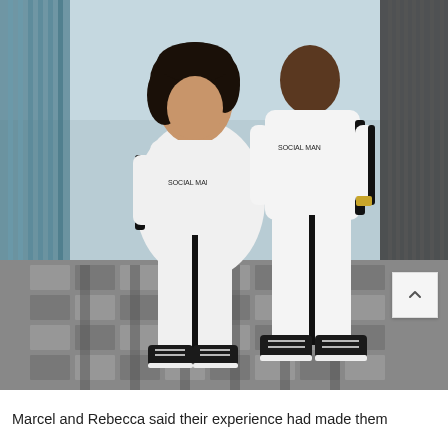[Figure (photo): A couple — a woman with curly hair and a taller man — both wearing matching white hooded tracksuits with black side stripes and black Vans sneakers, standing on a patterned metal walkway with fencing on both sides. The brand name 'SOCIAL MAN' is visible on their hoodies.]
Marcel and Rebecca said their experience had made them